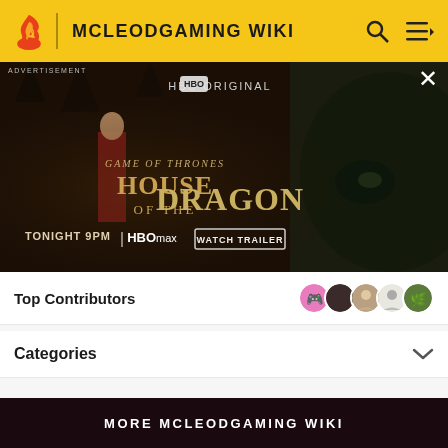MCLEODGAMING WIKI
[Figure (photo): HBO Original advertisement for House of the Dragon — Game of Thrones prequel series, showing a woman in red costume and a close-up of a dragon. Text: GAME OF THRONES HOUSE OF THE DRAGON TONIGHT 9PM HBO max WATCH TRAILER]
Top Contributors
Categories
Community content is available under CC-BY-SA unless otherwise noted.
MORE MCLEODGAMING WIKI